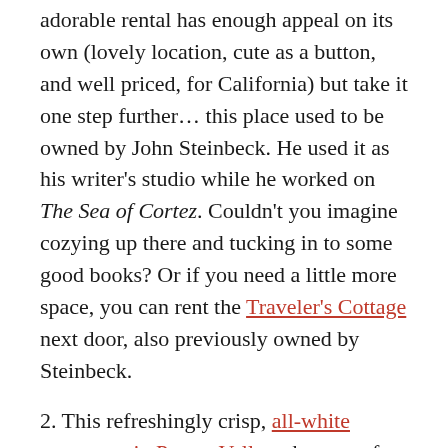adorable rental has enough appeal on its own (lovely location, cute as a button, and well priced, for California) but take it one step further… this place used to be owned by John Steinbeck. He used it as his writer's studio while he worked on The Sea of Cortez. Couldn't you imagine cozying up there and tucking in to some good books? Or if you need a little more space, you can rent the Traveler's Cottage next door, also previously owned by Steinbeck.
2. This refreshingly crisp, all-white apartment in Puerto Vallarta has a rooftop deck with gorgeous views of the Bay of Banderas. I LOVE Puerto Vallarta. Bookmarked.